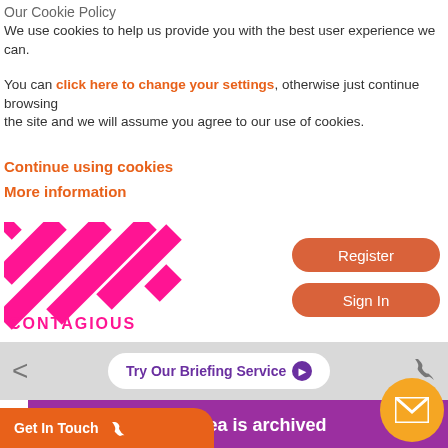Our Cookie Policy
We use cookies to help us provide you with the best user experience we can.
You can click here to change your settings, otherwise just continue browsing the site and we will assume you agree to our use of cookies.
Continue using cookies
More information
[Figure (logo): Contagious logo with pink diagonal stripes on a white square and CONTAGIOUS text in pink below]
Register
Sign In
Try Our Briefing Service
This idea is archived
Get In Touch